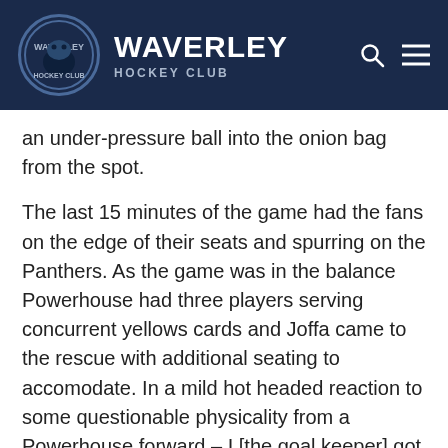WAVERLEY HOCKEY CLUB
an under-pressure ball into the onion bag from the spot.
The last 15 minutes of the game had the fans on the edge of their seats and spurring on the Panthers. As the game was in the balance Powerhouse had three players serving concurrent yellows cards and Joffa came to the rescue with additional seating to accomodate. In a mild hot headed reaction to some questionable physicality from a Powerhouse forward – I [the goal keeper] got to watch the nail biting end of the game from the halfway line with a cherry-pop yellow card. Temporarily without a